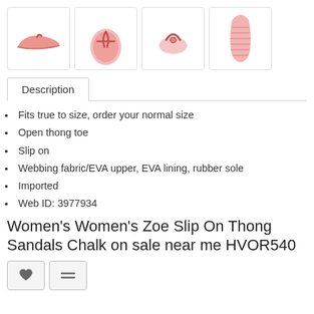[Figure (photo): Four product thumbnail images of a pink thong sandal: side view, top angled view, front clip view, and sole view]
Description
Fits true to size, order your normal size
Open thong toe
Slip on
Webbing fabric/EVA upper, EVA lining, rubber sole
Imported
Web ID: 3977934
Women's Women's Zoe Slip On Thong Sandals Chalk on sale near me HVOR540
[Figure (illustration): Heart icon (wishlist) and compare icon buttons]